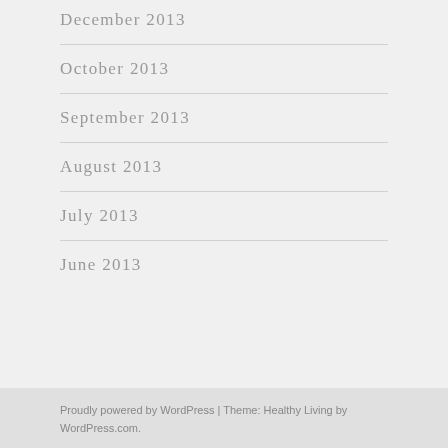December 2013
October 2013
September 2013
August 2013
July 2013
June 2013
Proudly powered by WordPress | Theme: Healthy Living by WordPress.com.